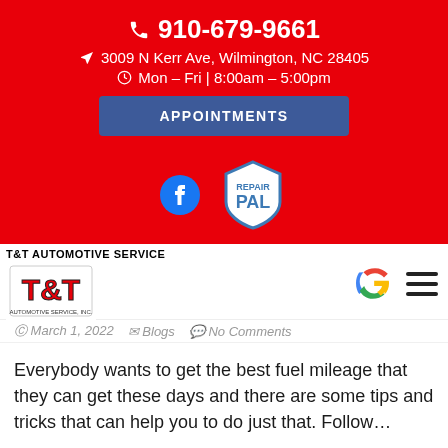910-679-9661
3009 N Kerr Ave, Wilmington, NC 28405
Mon – Fri | 8:00am – 5:00pm
APPOINTMENTS
[Figure (logo): Facebook icon and RepairPal badge]
[Figure (logo): T&T Automotive Service logo with text]
March 1, 2022  Blogs  No Comments
Everybody wants to get the best fuel mileage that they can get these days and there are some tips and tricks that can help you to do just that. Follow…
READ MORE